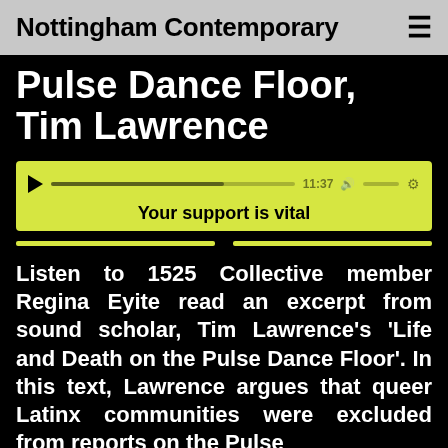Nottingham Contemporary
Pulse Dance Floor, Tim Lawrence
[Figure (screenshot): Audio player widget with yellow background, play button, progress bar, timestamp 11:37, volume and settings icons, with overlay text 'Your support is vital']
Listen to 1525 Collective member Regina Eyite read an excerpt from sound scholar, Tim Lawrence's 'Life and Death on the Pulse Dance Floor'. In this text, Lawrence argues that queer Latinx communities were excluded from reports on the Pulse